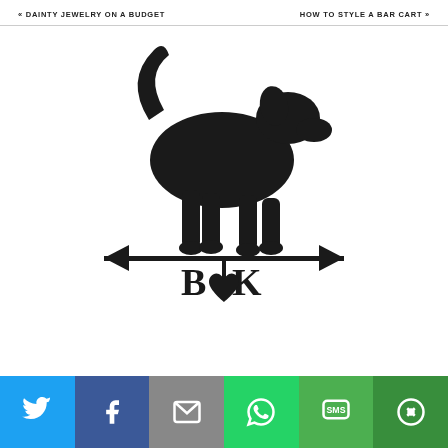« DAINTY JEWELRY ON A BUDGET    HOW TO STYLE A BAR CART »
[Figure (illustration): Black silhouette of a dog (hound breed) standing on a weather vane arrow with the initials B and K separated by a vertical line, and a heart shape hanging below. The arrow points left and right with arrowheads on both ends.]
Share buttons: Twitter, Facebook, Email, WhatsApp, SMS, More